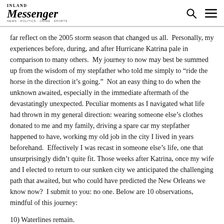Messenger
far reflect on the 2005 storm season that changed us all.  Personally, my experiences before, during, and after Hurricane Katrina pale in comparison to many others.  My journey to now may best be summed up from the wisdom of my stepfather who told me simply to “ride the horse in the direction it’s going.”  Not an easy thing to do when the unknown awaited, especially in the immediate aftermath of the devastatingly unexpected. Peculiar moments as I navigated what life had thrown in my general direction: wearing someone else’s clothes donated to me and my family, driving a spare car my stepfather happened to have, working my old job in the city I lived in years beforehand.  Effectively I was recast in someone else’s life, one that unsurprisingly didn’t quite fit. Those weeks after Katrina, once my wife and I elected to return to our sunken city we anticipated the challenging path that awaited, but who could have predicted the New Orleans we know now?  I submit to you: no one. Below are 10 observations, mindful of this journey:
10) Waterlines remain.